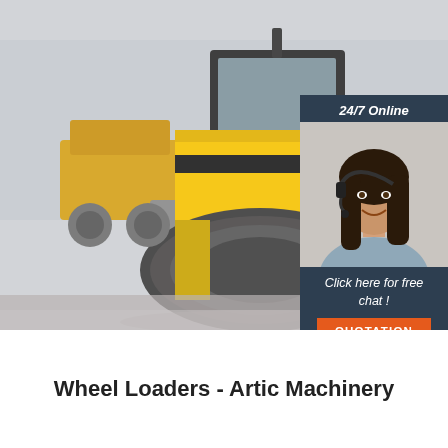[Figure (photo): A large yellow road roller/compactor machine parked in an outdoor yard with other heavy machinery visible in the background. The machine has a large black drum roller at the front and a yellow cab on top.]
[Figure (infographic): Chat widget overlay on the right side: dark teal background with '24/7 Online' text in italic white, photo of a smiling woman with a headset, italic white text 'Click here for free chat !', and an orange button labeled 'QUOTATION'.]
Wheel Loaders - Artic Machinery